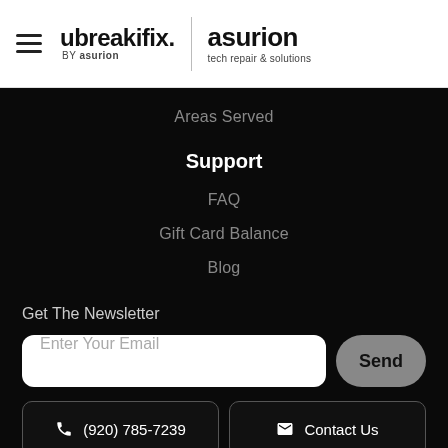[Figure (logo): ubreakifix by asurion | asurion tech repair & solutions logo with hamburger menu icon]
Areas Served
Support
FAQ
Gift Card Balance
Blog
Get The Newsletter
Enter Your Email
Send
(920) 785-7239
Contact Us